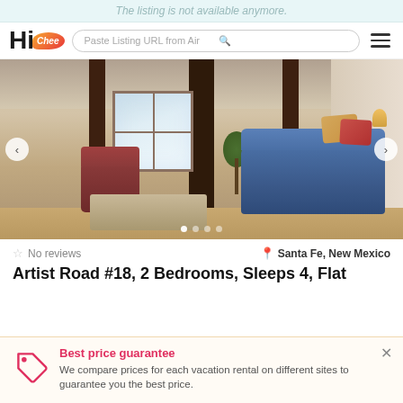The listing is not available anymore.
[Figure (screenshot): HiChee website navigation bar with logo, search bar reading 'Paste Listing URL from Air', search icon, and hamburger menu]
[Figure (photo): Interior photo of a vacation rental living room with exposed wood beam ceiling, blue sofa with colorful pillows, red armchair, wood coffee table, large window, and indoor plant]
★ No reviews
📍 Santa Fe, New Mexico
Artist Road #18, 2 Bedrooms, Sleeps 4, Flat
Best price guarantee
We compare prices for each vacation rental on different sites to guarantee you the best price.